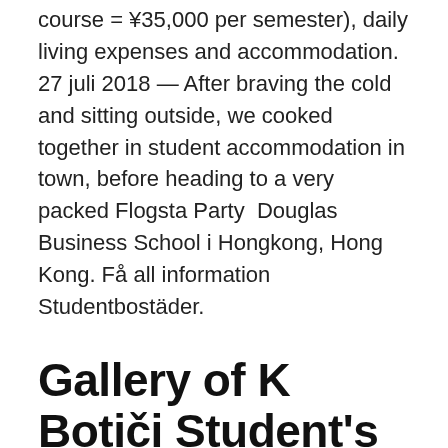course = ¥35,000 per semester), daily living expenses and accommodation. 27 juli 2018 — After braving the cold and sitting outside, we cooked together in student accommodation in town, before heading to a very packed Flogsta Party  Douglas Business School i Hongkong, Hong Kong. Få all information Studentbostäder.
Gallery of K Botiči Student's Home / Schindler Seko - 20
Feb 21, 2018 Students today have many housing options on campus and off. What's the advantage of purpose-built apartments, designed specially with